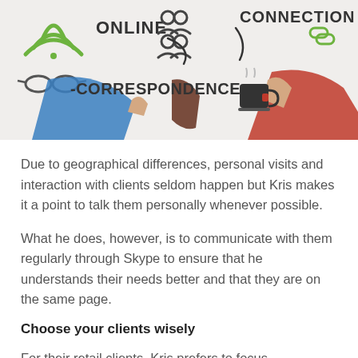[Figure (photo): Photo of multiple hands pointing at words written on a white surface: ONLINE, CORRESPONDENCE, CONNECTION, with icons including a WiFi symbol, person icons, and a chain link icon. Also visible: glasses and a coffee cup.]
Due to geographical differences, personal visits and interaction with clients seldom happen but Kris makes it a point to talk them personally whenever possible.
What he does, however, is to communicate with them regularly through Skype to ensure that he understands their needs better and that they are on the same page.
Choose your clients wisely
For their retail clients, Kris prefers to focus